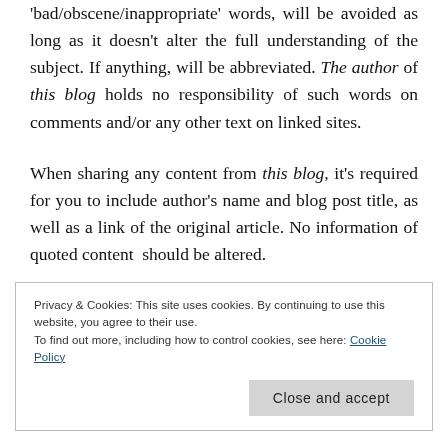'bad/obscene/inappropriate' words, will be avoided as long as it doesn't alter the full understanding of the subject. If anything, will be abbreviated. The author of this blog holds no responsibility of such words on comments and/or any other text on linked sites.
When sharing any content from this blog, it's required for you to include author's name and blog post title, as well as a link of the original article. No information of quoted content should be altered.
Privacy & Cookies: This site uses cookies. By continuing to use this website, you agree to their use. To find out more, including how to control cookies, see here: Cookie Policy
announced on social media.